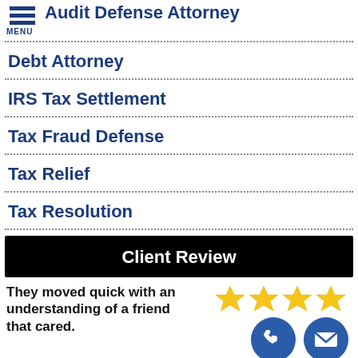Audit Defense Attorney
Debt Attorney
IRS Tax Settlement
Tax Fraud Defense
Tax Relief
Tax Resolution
Client Review
They moved quick with an understanding of a friend that cared.
[Figure (illustration): Four gold stars and two circular contact icons (phone and envelope) in blue]